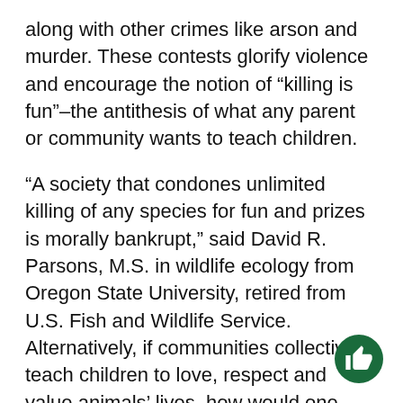along with other crimes like arson and murder. These contests glorify violence and encourage the notion of “killing is fun”–the antithesis of what any parent or community wants to teach children.
“A society that condones unlimited killing of any species for fun and prizes is morally bankrupt,” said David R. Parsons, M.S. in wildlife ecology from Oregon State University, retired from U.S. Fish and Wildlife Service. Alternatively, if communities collectively teach children to love, respect and value animals’ lives, how would one expect them to treat fellow human beings?
The brutal bloodsport of wildlife killing contests still exists in our community. The U.P. Predator Challenge has been around since 2003 and will be next held on Feb. 6 to Feb. 9, 2020. An article published on Jan. 2013 by 103EXD reports that this contest started